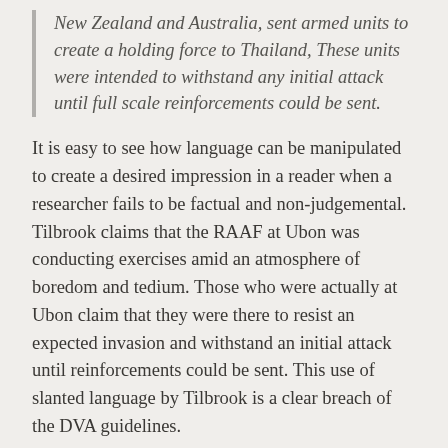New Zealand and Australia, sent armed units to create a holding force to Thailand, These units were intended to withstand any initial attack until full scale reinforcements could be sent.
It is easy to see how language can be manipulated to create a desired impression in a reader when a researcher fails to be factual and non-judgemental. Tilbrook claims that the RAAF at Ubon was conducting exercises amid an atmosphere of boredom and tedium. Those who were actually at Ubon claim that they were there to resist an expected invasion and withstand an initial attack until reinforcements could be sent. This use of slanted language by Tilbrook is a clear breach of the DVA guidelines.
The AAT transcript reveals that Tilbrook expressed the opinion that the account of the Ubon incident in